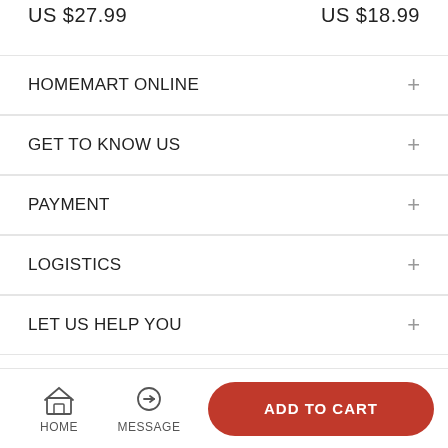US $27.99     US $18.99
HOMEMART ONLINE
GET TO KNOW US
PAYMENT
LOGISTICS
LET US HELP YOU
Copyright © 2020, Medik Powered by Homemart INC. All rights reserved
HOME  MESSAGE  ADD TO CART